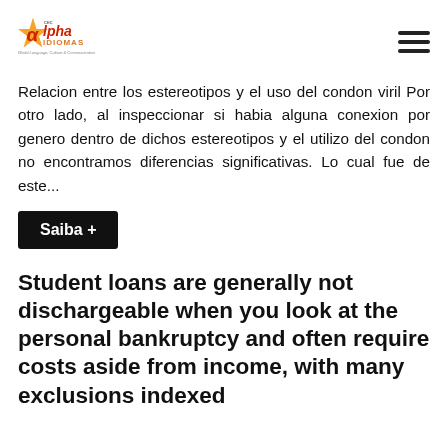CEC Alpha Idiomas — logo and navigation
Relacion entre los estereotipos y el uso del condon viril Por otro lado, al inspeccionar si habia alguna conexion por genero dentro de dichos estereotipos y el utilizo del condon no encontramos diferencias significativas. Lo cual fue de este...
Saiba +
Student loans are generally not dischargeable when you look at the personal bankruptcy and often require costs aside from income, with many exclusions indexed